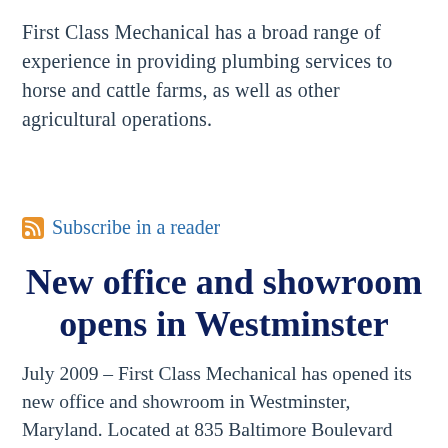First Class Mechanical has a broad range of experience in providing plumbing services to horse and cattle farms, as well as other agricultural operations.
Subscribe in a reader
New office and showroom opens in Westminster
July 2009 – First Class Mechanical has opened its new office and showroom in Westminster, Maryland. Located at 835 Baltimore Boulevard